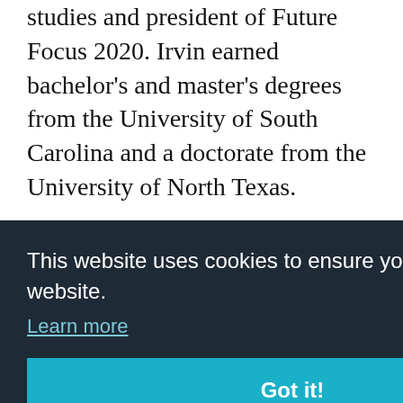studies and president of Future Focus 2020. Irvin earned bachelor's and master's degrees from the University of South Carolina and a doctorate from the University of North Texas.
Frederick L. McNary recently joined Ohio State University as director of the Center for Learning Excellence. Most recently, McNary was the principal at Mt. Vernon Middle School,
ate
l
Trenholm State Technical College in